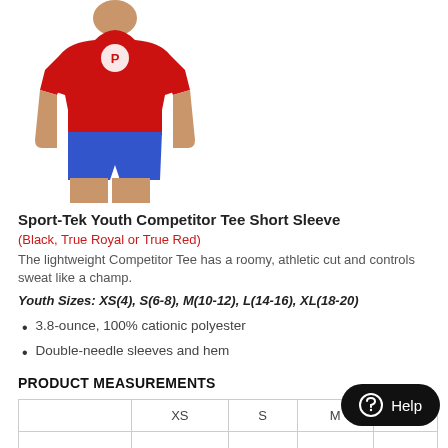[Figure (photo): A child wearing a red Sport-Tek short sleeve tee with blue shorts, shown from mid-chest up on a white background.]
Sport-Tek Youth Competitor Tee Short Sleeve
(Black, True Royal or True Red)
The lightweight Competitor Tee has a roomy, athletic cut and controls sweat like a champ.
Youth Sizes: XS(4), S(6-8), M(10-12), L(14-16), XL(18-20)
3.8-ounce, 100% cationic polyester
Double-needle sleeves and hem
PRODUCT MEASUREMENTS
|  | XS | S | M | L |
| --- | --- | --- | --- | --- |
|  |  |  |  |  |